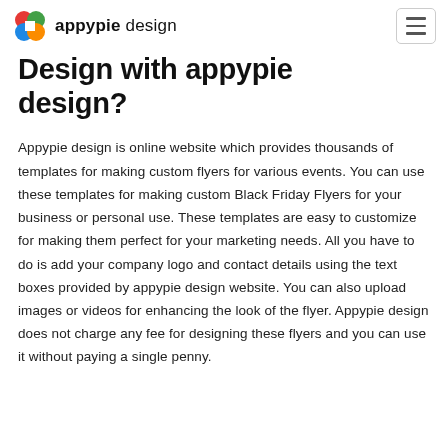appypie design
Design with appypie design?
Appypie design is online website which provides thousands of templates for making custom flyers for various events. You can use these templates for making custom Black Friday Flyers for your business or personal use. These templates are easy to customize for making them perfect for your marketing needs. All you have to do is add your company logo and contact details using the text boxes provided by appypie design website. You can also upload images or videos for enhancing the look of the flyer. Appypie design does not charge any fee for designing these flyers and you can use it without paying a single penny.